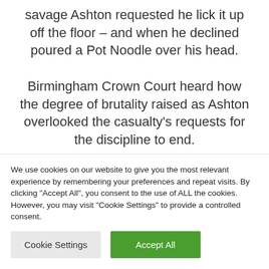savage Ashton requested he lick it up off the floor – and when he declined poured a Pot Noodle over his head.
Birmingham Crown Court heard how the degree of brutality raised as Ashton overlooked the casualty's requests for the discipline to end.
Christopher Pyatt-Penetrate, 18, – who
We use cookies on our website to give you the most relevant experience by remembering your preferences and repeat visits. By clicking "Accept All", you consent to the use of ALL the cookies. However, you may visit "Cookie Settings" to provide a controlled consent.